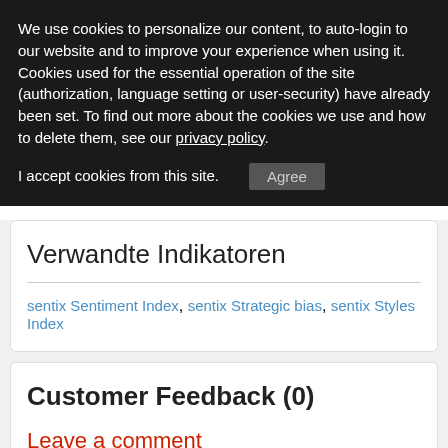We use cookies to personalize our content, to auto-login to our website and to improve your experience when using it. Cookies used for the essential operation of the site (authorization, language setting or user-security) have already been set. To find out more about the cookies we use and how to delete them, see our privacy policy.
I accept cookies from this site.  Agree
Verwandte Indikatoren
sentix Sentiment Index, sentix Strategic bias, sentix Styles Index
Customer Feedback (0)
Leave a comment
Please login to leave a comment. Optional login below.